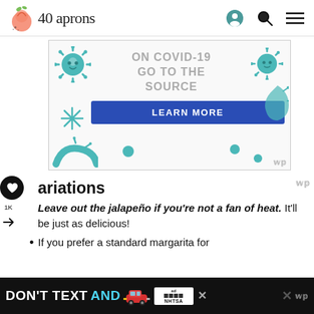40 aprons
[Figure (infographic): COVID-19 public health advertisement with teal virus illustrations. Text reads: ON COVID-19 GO TO THE SOURCE. Blue button: LEARN MORE.]
Variations
Leave out the jalapeño if you're not a fan of heat. It'll be just as delicious!
If you prefer a standard margarita for
[Figure (infographic): Bottom ad banner: DON'T TEXT AND [car emoji] with NHTSA branding. Dark background, yellow and cyan text.]